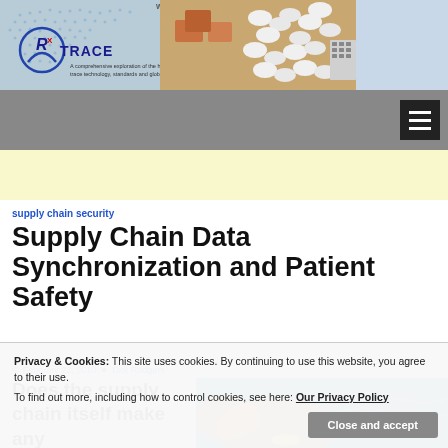[Figure (screenshot): RxTrace website header banner with logo, world map background, pills/boxes photograph, and 10th Anniversary badge]
[Figure (other): Navigation bar with hamburger menu button on dark grey background]
[Figure (other): Yellow/cream advertisement area]
supply chain security
Supply Chain Data Synchronization and Patient Safety
February 22, 2010  Dirk Rodgers
Does the supply chain itself make any
[Figure (photo): Partial photo of person in water with colorful accessories]
Privacy & Cookies: This site uses cookies. By continuing to use this website, you agree to their use. To find out more, including how to control cookies, see here: Our Privacy Policy